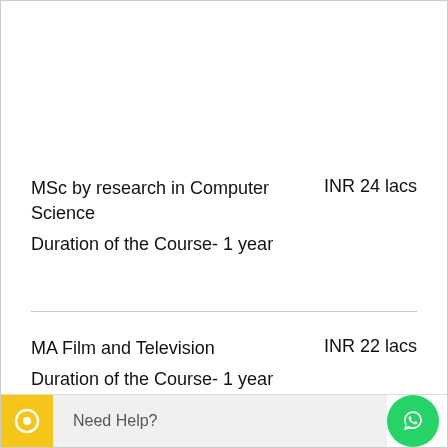MSc by research in Computer Science
INR 24 lacs
Duration of the Course- 1 year
MA Film and Television
INR 22 lacs
Duration of the Course- 1 year
MSc in Management
INR 27 lacs
Need Help?